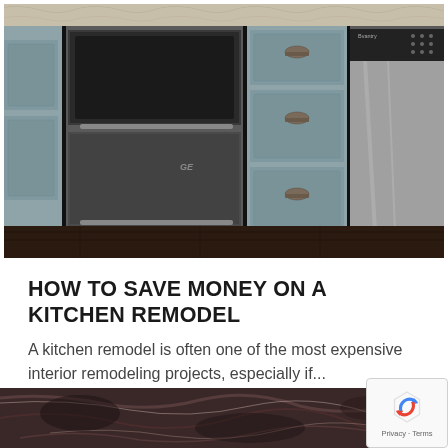[Figure (photo): Kitchen interior photo showing stainless steel appliances (double oven/range and dishwasher) flanked by blue-gray painted cabinets with cup drawer pulls, granite countertop visible at top, dark wood flooring below.]
HOW TO SAVE MONEY ON A KITCHEN REMODEL
A kitchen remodel is often one of the most expensive interior remodeling projects, especially if...
[Figure (photo): Partial view of dark marble or granite countertop surface with veined pattern in burgundy, black, and gray tones.]